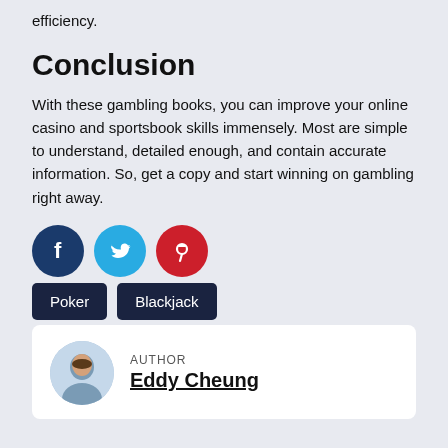efficiency.
Conclusion
With these gambling books, you can improve your online casino and sportsbook skills immensely. Most are simple to understand, detailed enough, and contain accurate information. So, get a copy and start winning on gambling right away.
[Figure (infographic): Three social media share icons: Facebook (dark blue circle with 'f'), Twitter (light blue circle with bird icon), Pinterest (red circle with 'p' pin icon)]
Poker
Blackjack
AUTHOR Eddy Cheung